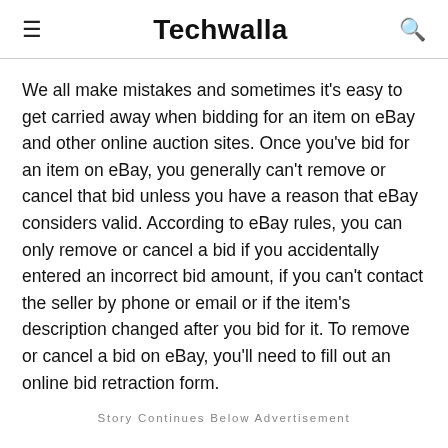Techwalla
We all make mistakes and sometimes it's easy to get carried away when bidding for an item on eBay and other online auction sites. Once you've bid for an item on eBay, you generally can't remove or cancel that bid unless you have a reason that eBay considers valid. According to eBay rules, you can only remove or cancel a bid if you accidentally entered an incorrect bid amount, if you can't contact the seller by phone or email or if the item's description changed after you bid for it. To remove or cancel a bid on eBay, you'll need to fill out an online bid retraction form.
Story Continues Below Advertisement